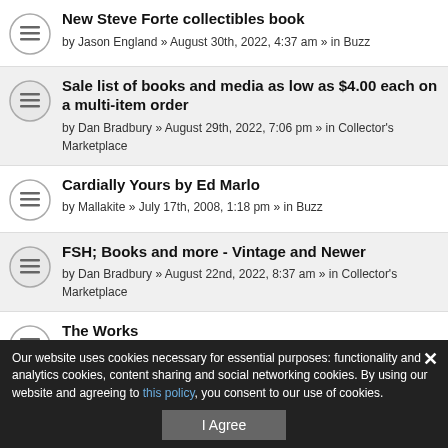New Steve Forte collectibles book — by Jason England » August 30th, 2022, 4:37 am » in Buzz
Sale list of books and media as low as $4.00 each on a multi-item order — by Dan Bradbury » August 29th, 2022, 7:06 pm » in Collector's Marketplace
Cardially Yours by Ed Marlo — by Mallakite » July 17th, 2008, 1:18 pm » in Buzz
FSH; Books and more - Vintage and Newer — by Dan Bradbury » August 22nd, 2022, 8:37 am » in Collector's Marketplace
The Works — by Bibliophage » July 4th, 2016, 10:01 pm » in Mentalism & Mental Magic — pages 1 2 3 4 5 6
Magic collectables — by Robert77 » August 27th, 2022, 11:19 pm » in Magic History and...
Houdini's Daughter — by Jack Shalom » August 20th, 2022, 5:46 pm » in General
Our website uses cookies necessary for essential purposes: functionality and analytics cookies, content sharing and social networking cookies. By using our website and agreeing to this policy, you consent to our use of cookies.